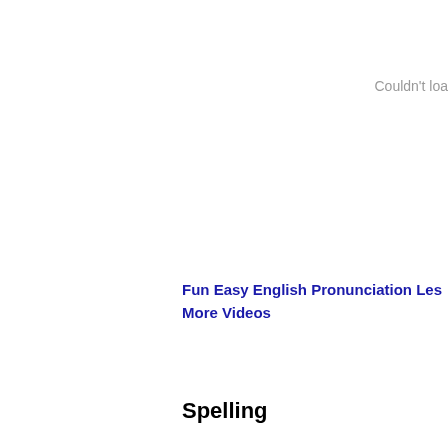Couldn't loa
Fun Easy English Pronunciation Les
More Videos
Spelling